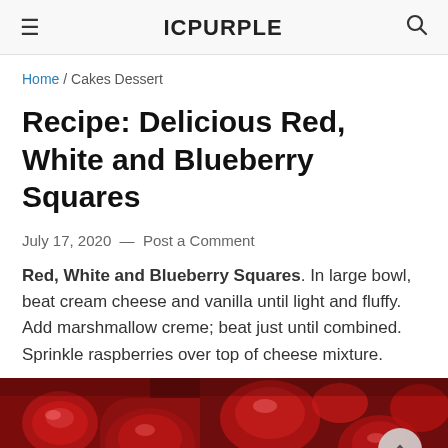≡  ICPURPLE  🔍
Home / Cakes Dessert
Recipe: Delicious Red, White and Blueberry Squares
July 17, 2020 — Post a Comment
Red, White and Blueberry Squares. In large bowl, beat cream cheese and vanilla until light and fluffy. Add marshmallow creme; beat just until combined. Sprinkle raspberries over top of cheese mixture.
[Figure (photo): Close-up photo of red berry dessert squares with glossy red fruit topping in a glass dish]